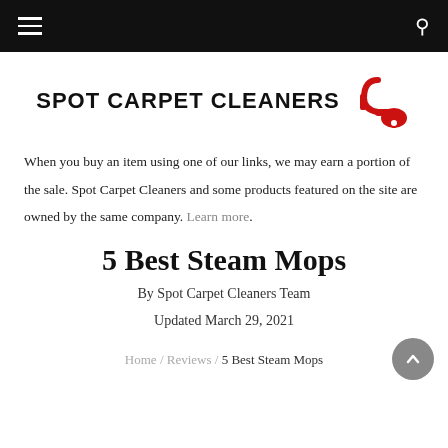SPOT CARPET CLEANERS — navigation bar with hamburger menu and search icon
[Figure (logo): Spot Carpet Cleaners logo with vacuum cleaner icon in red]
When you buy an item using one of our links, we may earn a portion of the sale. Spot Carpet Cleaners and some products featured on the site are owned by the same company. Learn more.
5 Best Steam Mops
By Spot Carpet Cleaners Team
Updated March 29, 2021
Home / Reviews / 5 Best Steam Mops